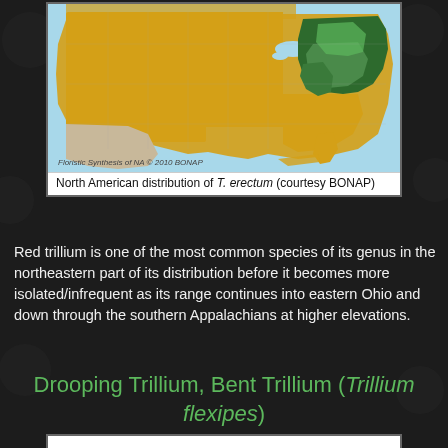[Figure (map): North American distribution map of Trillium erectum from BONAP (Floristic Synthesis of NA © 2010 BONAP). Shows counties colored in yellow/orange (present) across the US and Canada, with the northeastern US highlighted in dark green indicating the core range.]
North American distribution of T. erectum (courtesy BONAP)
Red trillium is one of the most common species of its genus in the northeastern part of its distribution before it becomes more isolated/infrequent as its range continues into eastern Ohio and down through the southern Appalachians at higher elevations.
Drooping Trillium, Bent Trillium (Trillium flexipes)